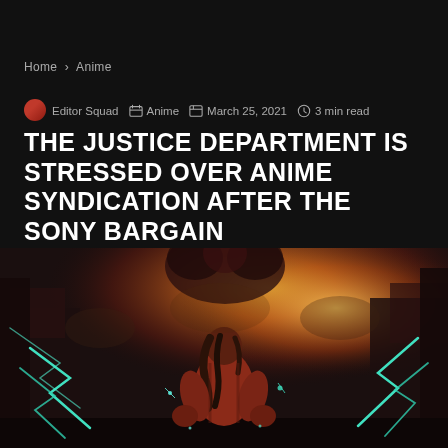Home > Anime
Editor Squad  Anime  March 25, 2021  3 min read
THE JUSTICE DEPARTMENT IS STRESSED OVER ANIME SYNDICATION AFTER THE SONY BARGAIN
[Figure (illustration): Anime illustration of a muscular figure seen from behind with long dark hair, wearing a reddish outfit, surrounded by teal/green lightning bolts, with a massive titan figure and explosive light/fire backdrop in a dark atmospheric scene.]